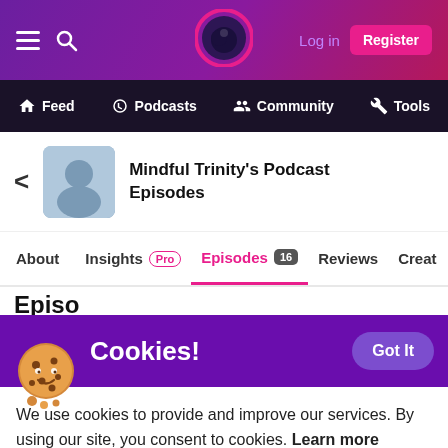Log in | Register — top navigation bar with hamburger, search, logo, login, register
Feed | Podcasts | Community | Tools — secondary navigation
Mindful Trinity's Podcast Episodes
About | Insights Pro | Episodes 16 | Reviews | Creat...
Cookies!
We use cookies to provide and improve our services. By using our site, you consent to cookies. Learn more